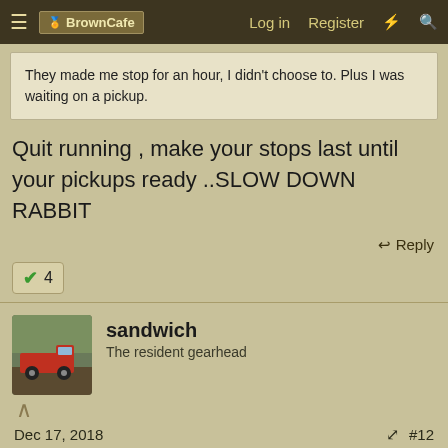BrownCafe  Log in  Register
They made me stop for an hour, I didn't choose to. Plus I was waiting on a pickup.
Quit running , make your stops last until your pickups ready ..SLOW DOWN RABBIT
Reply
4
sandwich
The resident gearhead
Dec 17, 2018  #12
IVE GOTTA PACKAGE 4U said:
Take a lunch everyday